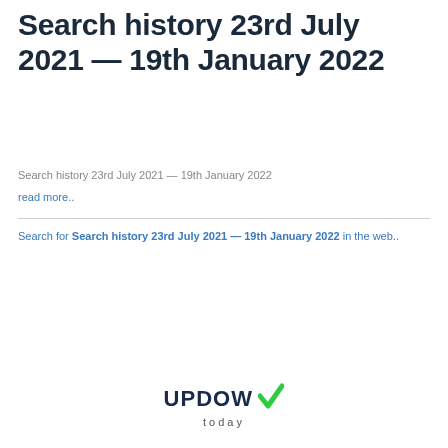Search history 23rd July 2021 — 19th January 2022
Search history 23rd July 2021 — 19th January 2022
read more..
Search for Search history 23rd July 2021 — 19th January 2022 in the web..
[Figure (logo): UPDOWN today logo with a green checkmark replacing the N in UPDOWN]